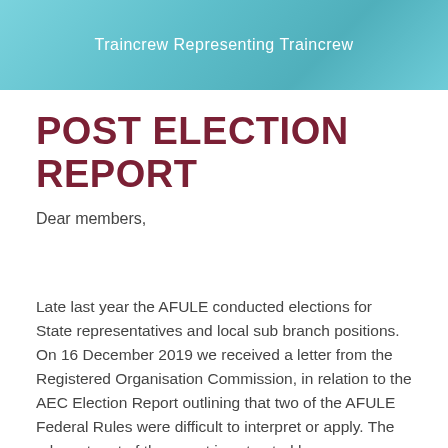Traincrew Representing Traincrew
POST ELECTION REPORT
Dear members,
Late last year the AFULE conducted elections for State representatives and local sub branch positions. On 16 December 2019 we received a letter from the Registered Organisation Commission, in relation to the AEC Election Report outlining that two of the AFULE Federal Rules were difficult to interpret or apply. The relevant part of the report is extracted here: